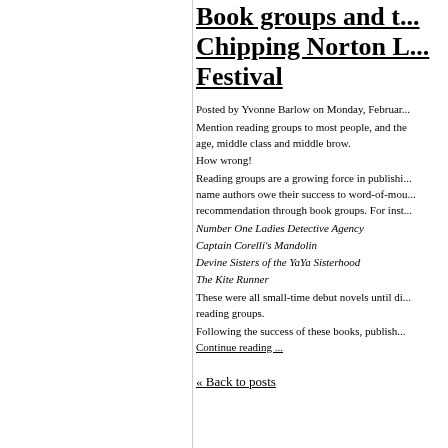Book groups and the Chipping Norton Literary Festival
Posted by Yvonne Barlow on Monday, February...
Mention reading groups to most people, and the age, middle class and middle brow.
How wrong!
Reading groups are a growing force in publishing, name authors owe their success to word-of-mouth recommendation through book groups. For inst...
Number One Ladies Detective Agency
Captain Corelli's Mandolin
Devine Sisters of the YaYa Sisterhood
The Kite Runner
These were all small-time debut novels until discovered by reading groups.
Following the success of these books, publish...
Continue reading ...
« Back to posts